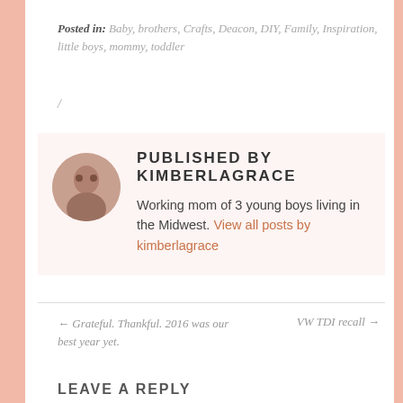Posted in: Baby, brothers, Crafts, Deacon, DIY, Family, Inspiration, little boys, mommy, toddler
/
PUBLISHED BY KIMBERLAGRACE
Working mom of 3 young boys living in the Midwest. View all posts by kimberlagrace
← Grateful. Thankful. 2016 was our best year yet.
VW TDI recall →
LEAVE A REPLY